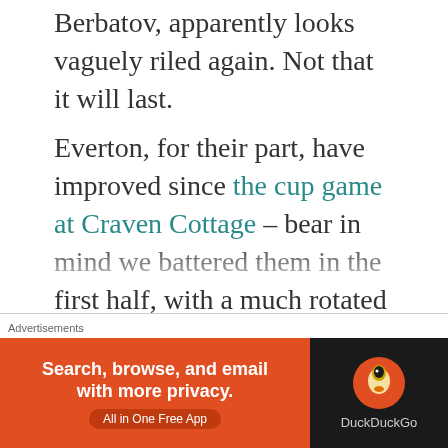Berbatov, apparently looks vaguely riled again. Not that it will last.
Everton, for their part, have improved since the cup game at Craven Cottage – bear in mind we battered them in the first half, with a much rotated line-up – and after a couple of massive results come into the weekend as heavy favourites.
Unfortunately the Toffees will be without the suspended James McCarthy though and that's a big loss. Outside of the club
Advertisements
[Figure (other): DuckDuckGo advertisement banner: orange section with text 'Search, browse, and email with more privacy. All in One Free App' and dark section with DuckDuckGo duck logo and brand name.]